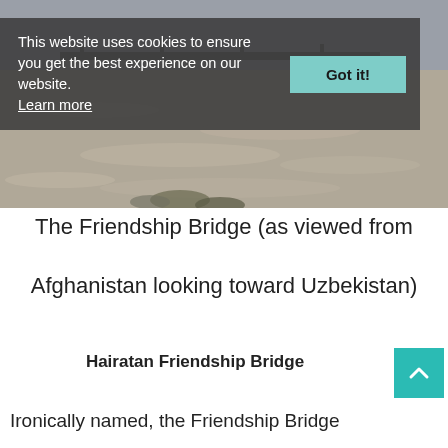[Figure (photo): Photograph of the Friendship Bridge and river viewed from Afghanistan looking toward Uzbekistan, with a cookie consent banner overlay]
This website uses cookies to ensure you get the best experience on our website. Learn more
The Friendship Bridge (as viewed from Afghanistan looking toward Uzbekistan)
Hairatan Friendship Bridge
Ironically named, the Friendship Bridge